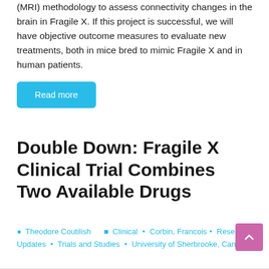(MRI) methodology to assess connectivity changes in the brain in Fragile X. If this project is successful, we will have objective outcome measures to evaluate new treatments, both in mice bred to mimic Fragile X and in human patients.
Read more
Double Down: Fragile X Clinical Trial Combines Two Available Drugs
Theodore Coutilish   Clinical • Corbin, Francois • Research Updates • Trials and Studies • University of Sherbrooke, Canada